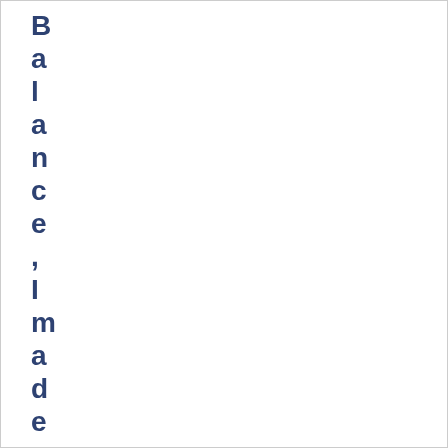Balance, I made a consciously de